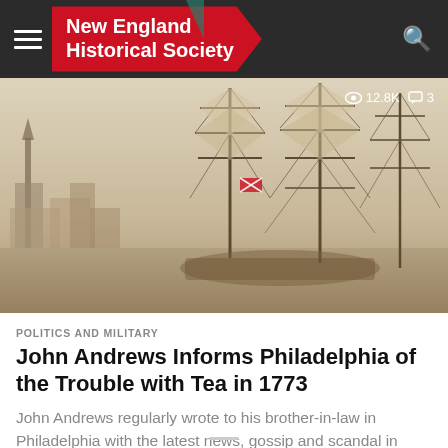New England Historical Society
[Figure (photo): Historical illustration of tall ships with masts in a harbor, sepia toned. Overlaid stats show 12.8K views and 3 comments.]
POLITICS AND MILITARY
John Andrews Informs Philadelphia of the Trouble with Tea in 1773
John Andrews regularly wrote to his brother-in-law in Philadelphia with the latest news, gossip and scandal in Boston in 1773. For the...